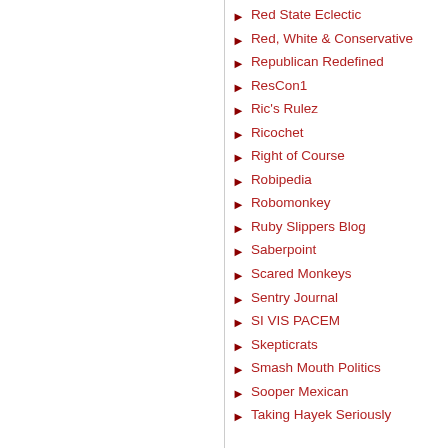Red State Eclectic
Red, White & Conservative
Republican Redefined
ResCon1
Ric's Rulez
Ricochet
Right of Course
Robipedia
Robomonkey
Ruby Slippers Blog
Saberpoint
Scared Monkeys
Sentry Journal
SI VIS PACEM
Skepticrats
Smash Mouth Politics
Sooper Mexican
Taking Hayek Seriously